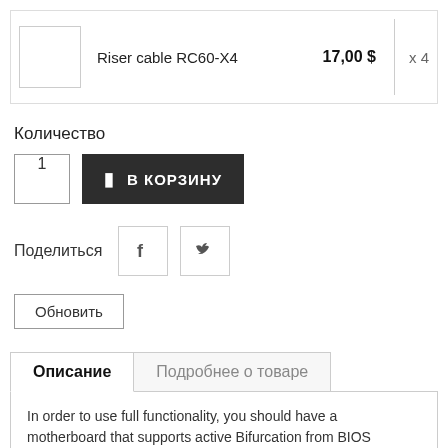Riser cable RC60-X4   17,00 $   x 4
Количество
1   В КОРЗИНУ
Поделиться
Обновить
Описание   Подробнее о товаре
In order to use full functionality, you should have a motherboard that supports active Bifurcation from BIOS